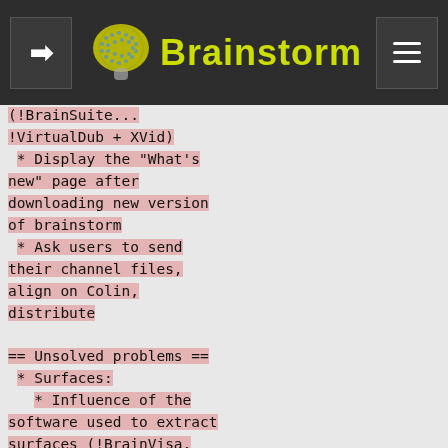Brainstorm
(!BrainSuite...
!VirtualDub + XVid)
* Display the "What's new" page after downloading new version of brainstorm
* Ask users to send their channel files, align on Colin, distribute
== Unsolved problems ==
* Surfaces:
* Influence of the software used to extract surfaces (!BrainVisa, !BrainSuite, !FreeSurfer)
* Type  of cortex surface to use: grey/white, grey/csf, midsurface ?
* How  to get good surfaces for BEM ?
* Group analysis:
* 1) localization on